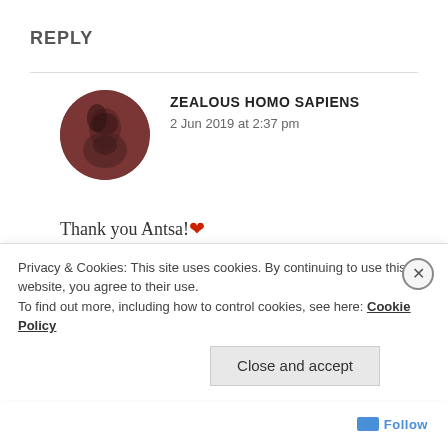REPLY
[Figure (illustration): Circular avatar photo of a person with dark hair against a dark reddish-brown background]
ZEALOUS HOMO SAPIENS
2 Jun 2019 at 2:37 pm
Thank you Antsa!❤️
And don't worry , that makes perfect sense to me.🙂
I am Malala is a very nice book, I would totally
Privacy & Cookies: This site uses cookies. By continuing to use this website, you agree to their use.
To find out more, including how to control cookies, see here: Cookie Policy
Close and accept